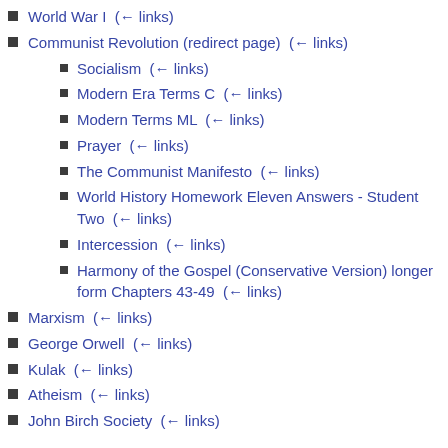World War I  (← links)
Communist Revolution (redirect page)  (← links)
Socialism  (← links)
Modern Era Terms C  (← links)
Modern Terms ML  (← links)
Prayer  (← links)
The Communist Manifesto  (← links)
World History Homework Eleven Answers - Student Two  (← links)
Intercession  (← links)
Harmony of the Gospel (Conservative Version) longer form Chapters 43-49  (← links)
Marxism  (← links)
George Orwell  (← links)
Kulak  (← links)
Atheism  (← links)
John Birch Society  (← links)